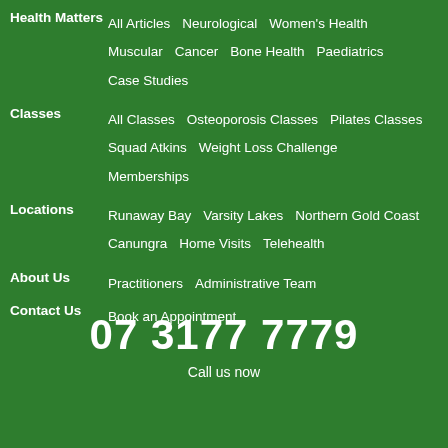Health Matters: All Articles, Neurological, Women's Health, Muscular, Cancer, Bone Health, Paediatrics, Case Studies
Classes: All Classes, Osteoporosis Classes, Pilates Classes, Squad Atkins, Weight Loss Challenge, Memberships
Locations: Runaway Bay, Varsity Lakes, Northern Gold Coast, Canungra, Home Visits, Telehealth
About Us: Practitioners, Administrative Team
Contact Us: Book an Appointment
07 3177 7779
Call us now